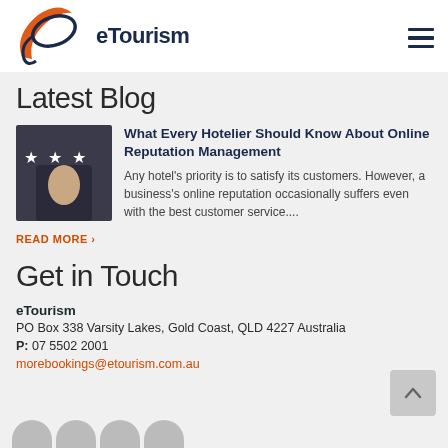[Figure (logo): eTourism logo with stylized orange and navy swoosh/ellipse icon and text 'eTourism' in dark navy]
Latest Blog
[Figure (photo): Person in suit touching a star rating display with three white stars]
What Every Hotelier Should Know About Online Reputation Management
Any hotel's priority is to satisfy its customers. However, a business's online reputation occasionally suffers even with the best customer service....
READ MORE ›
Get in Touch
eTourism
PO Box 338 Varsity Lakes, Gold Coast, QLD 4227 Australia
P: 07 5502 2001
morebookings@etourism.com.au